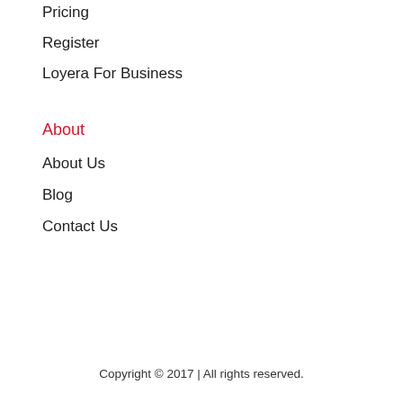Pricing
Register
Loyera For Business
About
About Us
Blog
Contact Us
Copyright © 2017 | All rights reserved.